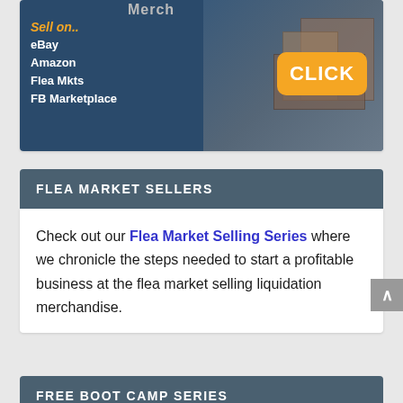[Figure (illustration): Advertisement banner for Merch liquidation service. Dark blue background with warehouse/pallet image on right. Text reads: 'Sell on.. eBay, Amazon, Flea Mkts, FB Marketplace' in white bold font with orange 'Sell on..' text. Large orange rounded button with 'CLICK' in white bold text.]
FLEA MARKET SELLERS
Check out our Flea Market Selling Series where we chronicle the steps needed to start a profitable business at the flea market selling liquidation merchandise.
FREE BOOT CAMP SERIES